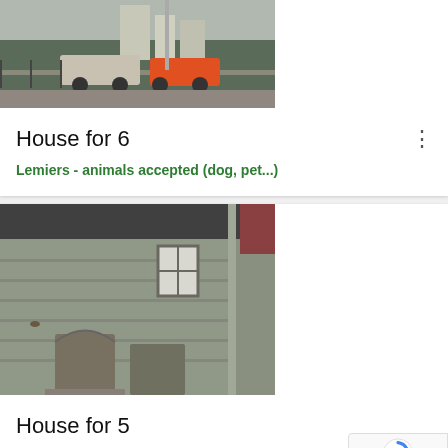[Figure (photo): Top portion of a street/house photo showing cars parked near a building]
House for 6
Lemiers - animals accepted (dog, pet...)
[Figure (photo): Stone house facade with windows and doors, slate roof visible]
House for 5
Theux - 3 bedrooms